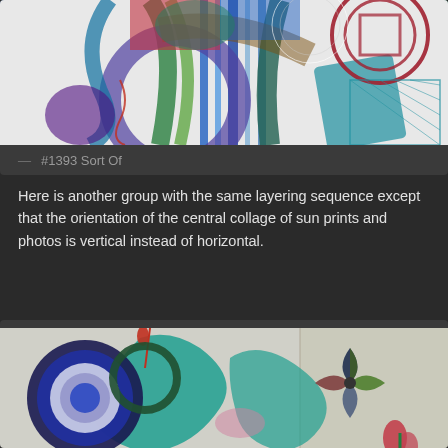[Figure (photo): Abstract colorful collage artwork with ribbons, circles, geometric shapes in blues, greens, reds, purples on white background]
— #1393 Sort Of
Here is another group with the same layering sequence except that the orientation of the central collage of sun prints and photos is vertical instead of horizontal.
[Figure (photo): Abstract collage artwork with teal shapes, circular target, pinwheel, and floral elements on light background]